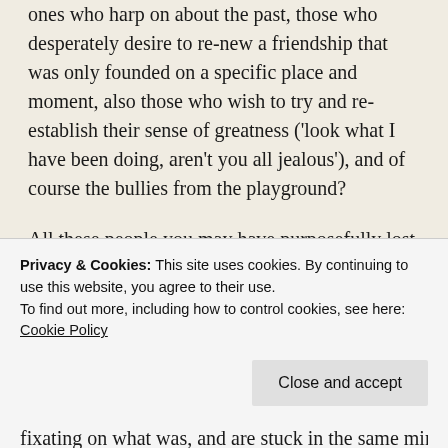ones who harp on about the past, those who desperately desire to re-new a friendship that was only founded on a specific place and moment, also those who wish to try and re-establish their sense of greatness ('look what I have been doing, aren't you all jealous'), and of course the bullies from the playground?
All these people you may have purposefully lost contact with (years ago), suddenly feel they have a right to wander back into your life, and act as though nothing transpired to make them, a friend from the past or just someone you had to suffer. Maybe you consigned them to the past for a damn good reason!
It seems people are just so eager to parachute back into our lives; to pry, because they are guilty for their past actions,
Privacy & Cookies: This site uses cookies. By continuing to use this website, you agree to their use.
To find out more, including how to control cookies, see here: Cookie Policy
Close and accept
fixating on what was, and are stuck in the same mind set and